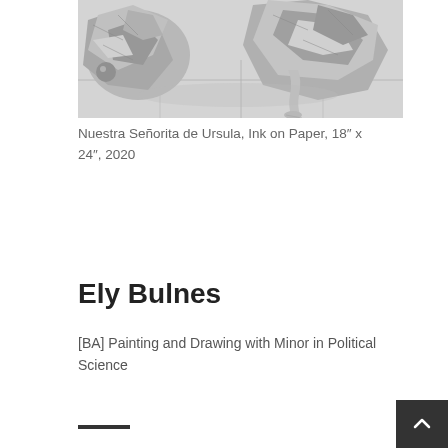[Figure (photo): Black and white ink drawing showing figures wrapped in metallic/foil-like material on a tiled floor, with a bare leg visible]
Nuestra Señorita de Ursula, Ink on Paper, 18″ x 24″, 2020
Ely Bulnes
[BA] Painting and Drawing with Minor in Political Science